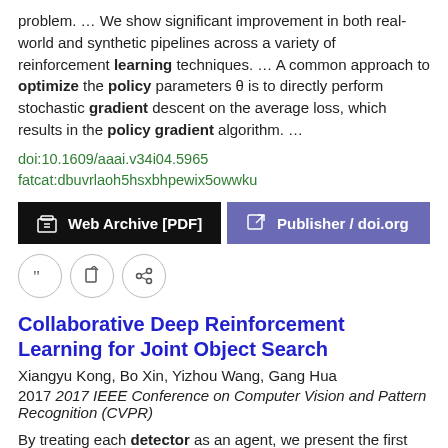problem.  …  We show significant improvement in both real-world and synthetic pipelines across a variety of reinforcement learning techniques.  …  A common approach to optimize the policy parameters θ is to directly perform stochastic gradient descent on the average loss, which results in the policy gradient algorithm.  …
doi:10.1609/aaai.v34i04.5965
fatcat:dbuvrlaoh5hsxbhpewix5owwku
Web Archive [PDF]   Publisher / doi.org
[quote icon] [edit icon] [share icon]
Collaborative Deep Reinforcement Learning for Joint Object Search
Xiangyu Kong, Bo Xin, Yizhou Wang, Gang Hua
2017 2017 IEEE Conference on Computer Vision and Pattern Recognition (CVPR)
By treating each detector as an agent, we present the first collaborative multiagent deep reinforcement learning algorithm to learn the optimal policy for joint active object localization, which effectively  …  We verify our proposed method on multiple object detection benchmarks.  …  By treating each detector as an agent, we